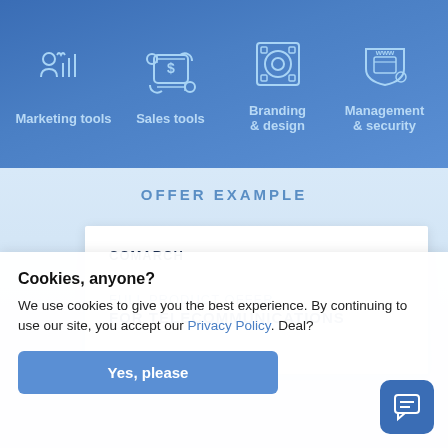[Figure (infographic): Blue header banner with four icon+label categories: Marketing tools, Sales tools, Branding & design, Management & security]
OFFER EXAMPLE
COMARCH
FULL PRODUCT OFFER FOR TELECOMMUNICATIONS
Cookies, anyone?
We use cookies to give you the best experience. By continuing to use our site, you accept our Privacy Policy. Deal?
Yes, please